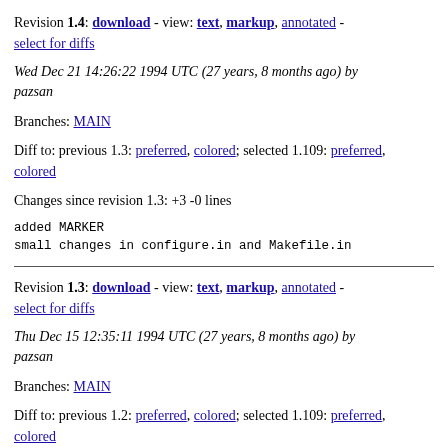Revision 1.4: download - view: text, markup, annotated - select for diffs
Wed Dec 21 14:26:22 1994 UTC (27 years, 8 months ago) by pazsan
Branches: MAIN
Diff to: previous 1.3: preferred, colored; selected 1.109: preferred, colored
Changes since revision 1.3: +3 -0 lines
added MARKER
small changes in configure.in and Makefile.in
Revision 1.3: download - view: text, markup, annotated - select for diffs
Thu Dec 15 12:35:11 1994 UTC (27 years, 8 months ago) by pazsan
Branches: MAIN
Diff to: previous 1.2: preferred, colored; selected 1.109: preferred, colored
Changes since revision 1.2: +1 -0 lines
Reimplemented [IF] [ELSE] [THEN] etc.
Corrected a bug concerning redefinitions in Kernal
Added config info for HP-PA
Added replacement for rint